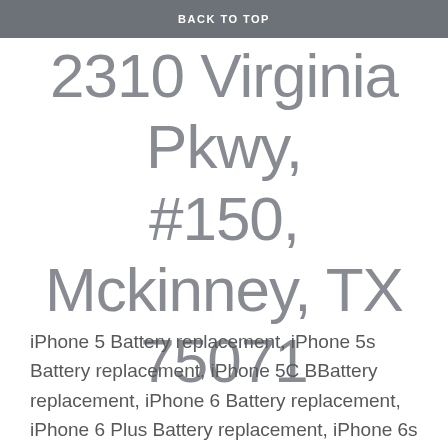BACK TO TOP
2310 Virginia Pkwy, #150, Mckinney, TX 75071
iPhone 5 Battery replacement, iPhone 5s Battery replacement, iPhone 5C BBattery replacement, iPhone 6 Battery replacement, iPhone 6 Plus Battery replacement, iPhone 6s Battery replacement, iPhone 6s Plus Battery replacement, iPhone 7 Battery replacement, iPhone 7 Plus Battery replacement, iPhone 8 Battery replacement, iPhone 8 Plus Battery replacement, iPhone X Battery replacement, iPhone XS Battery replacement, iPhone XR Battery replacement, iPhone XS Max Battery